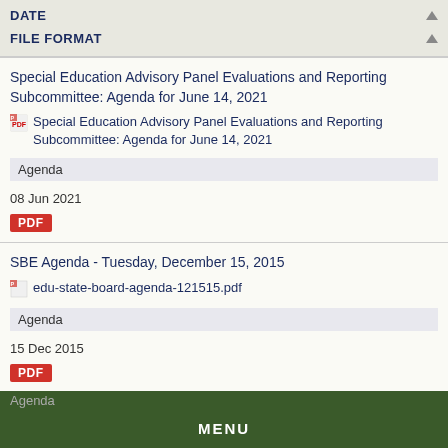DATE
FILE FORMAT
Special Education Advisory Panel Evaluations and Reporting Subcommittee: Agenda for June 14, 2021
Special Education Advisory Panel Evaluations and Reporting Subcommittee: Agenda for June 14, 2021
Agenda
08 Jun 2021
PDF
SBE Agenda - Tuesday, December 15, 2015
edu-state-board-agenda-121515.pdf
Agenda
15 Dec 2015
PDF
Special Education Advisory Panel: Agenda for December 14, 2020
Special Education Advisory Panel: Agenda for December 14, 2020
Agenda
MENU